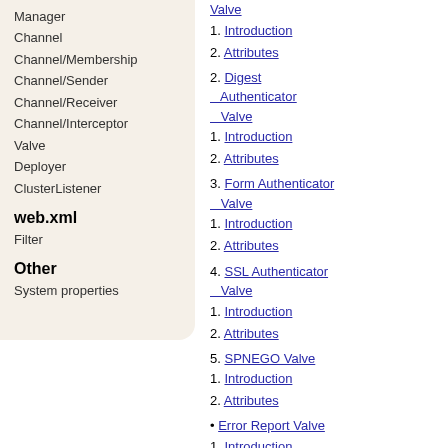Manager
Channel
Channel/Membership
Channel/Sender
Channel/Receiver
Channel/Interceptor
Valve
Deployer
ClusterListener
web.xml
Filter
Other
System properties
Valve (link) 1. Introduction 2. Attributes
Digest Authenticator Valve 1. Introduction 2. Attributes
Form Authenticator Valve 1. Introduction 2. Attributes
SSL Authenticator Valve 1. Introduction 2. Attributes
SPNEGO Valve 1. Introduction 2. Attributes
Error Report Valve 1. Introduction 2. Attributes
Crawler Session